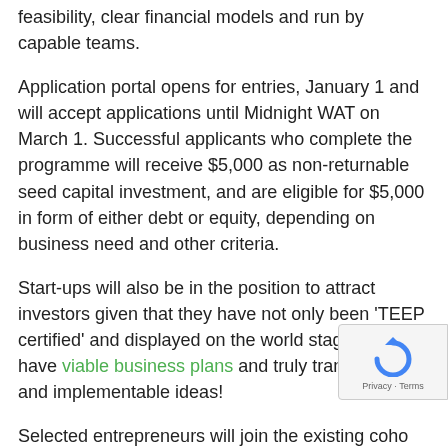feasibility, clear financial models and run by capable teams.
Application portal opens for entries, January 1 and will accept applications until Midnight WAT on March 1. Successful applicants who complete the programme will receive $5,000 as non-returnable seed capital investment, and are eligible for $5,000 in form of either debt or equity, depending on business need and other criteria.
Start-ups will also be in the position to attract investors given that they have not only been 'TEEP certified' and displayed on the world stage, but they have viable business plans and truly transformative and implementable ideas!
Selected entrepreneurs will join the existing coho...